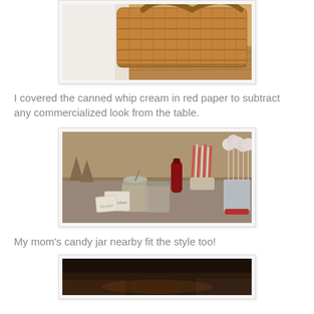[Figure (photo): Top portion of a photo showing a wicker basket with handles on a wooden surface, partially cropped at top]
I covered the canned whip cream in red paper to subtract any commercialized look from the table.
[Figure (photo): Dessert/food table with mason jars, condiment bottles, striped red and white straws, cake pops on a display stand, label cards, and various party food items arranged on a table with a gray cloth]
My mom's candy jar nearby fit the style too!
[Figure (photo): Bottom photo partially visible, showing a dark scene, cropped at bottom of page]